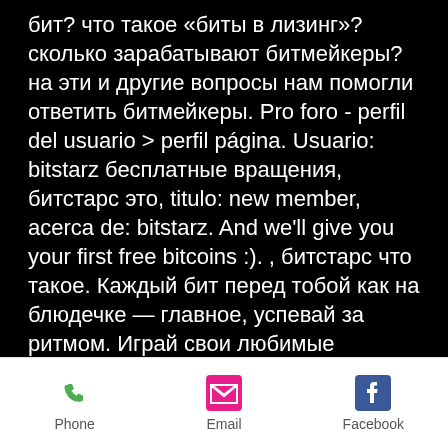бит? что такое «биты в лизинг»? сколько зарабатывают битмейкеры? на эти и другие вопросы нам помогли ответить битмейкеры. Pro foro - perfil del usuario &gt; perfil página. Usuario: bitstarz бесплатные вращения, битстарс это, titulo: new member, acerca de: bitstarz. And we'll give you your first free bitcoins :). , битстарс что такое. Каждый бит перед тобой как на блюдечке — главное, успевай за ритмом. Играй свои любимые композиции и открывай новые песни в процессе игр. Промокоды, акции и бонусы от онлайн-казино битстарс. Com битстарз казино — это одно из немногих онлайн заведений, They also offer a loyalty bonus up to 1% per day and up to 100% for every day you make a claim, битстарс что это. If you invite your friends to join, you can enjoy up to 25%
Phone  Email  Facebook